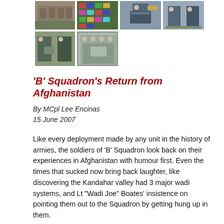[Figure (photo): Group of soldiers in military uniforms standing outdoors]
[Figure (photo): Military flags/patches laid out on a green surface]
[Figure (photo): Military officer saluting in dress uniform with medals]
[Figure (photo): Two military officers in dress uniforms]
[Figure (photo): Two military officers, one pinning something on the other]
[Figure (photo): Group of military personnel holding a framed item outdoors]
‘B’ Squadron’s Return from Afghanistan
By MCpl Lee Encinas
15 June 2007
Like every deployment made by any unit in the history of armies, the soldiers of ‘B’ Squadron look back on their experiences in Afghanistan with humour first. Even the times that sucked now bring back laughter, like discovering the Kandahar valley had 3 major wadi systems, and Lt “Wadi Joe” Boates’ insistence on pointing them out to the Squadron by getting hung up in them.